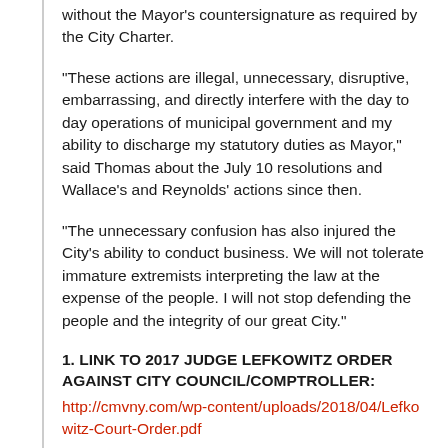without the Mayor’s countersignature as required by the City Charter.
“These actions are illegal, unnecessary, disruptive, embarrassing, and directly interfere with the day to day operations of municipal government and my ability to discharge my statutory duties as Mayor,” said Thomas about the July 10 resolutions and Wallace’s and Reynolds’ actions since then.
“The unnecessary confusion has also injured the City’s ability to conduct business. We will not tolerate immature extremists interpreting the law at the expense of the people. I will not stop defending the people and the integrity of our great City.”
1. LINK TO 2017 JUDGE LEFKOWITZ ORDER AGAINST CITY COUNCIL/COMPTROLLER:
http://cmvny.com/wp-content/uploads/2018/04/Lefkowitz-Court-Order.pdf